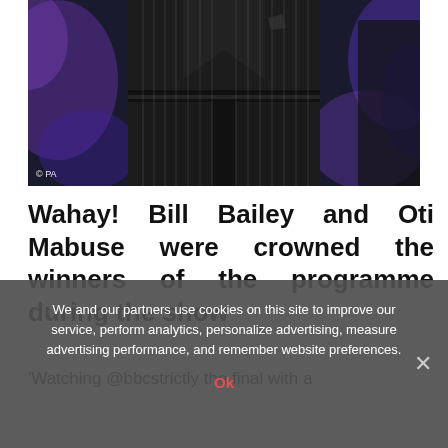[Figure (photo): Close-up photo of a person wearing a dark pinstripe suit. The background shows blurred purple and blue stage lighting. A '© PA' watermark appears in the bottom-left corner of the image.]
© PA
Wahay! Bill Bailey and Oti Mabuse were crowned the winners of the programme during the show
'Watching @bbcstrictly the final with a
We and our partners use cookies on this site to improve our service, perform analytics, personalize advertising, measure advertising performance, and remember website preferences.
Ok